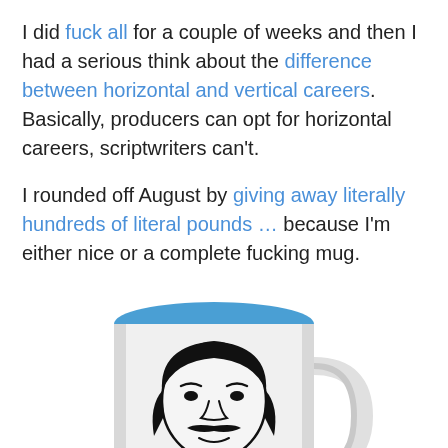I did fuck all for a couple of weeks and then I had a serious think about the difference between horizontal and vertical careers. Basically, producers can opt for horizontal careers, scriptwriters can't.
I rounded off August by giving away literally hundreds of literal pounds … because I'm either nice or a complete fucking mug.
[Figure (photo): A white ceramic mug with a blue interior, featuring a hand-drawn illustration of a man's face (resembling Lionel Richie) with curly hair and a mustache. Text on the mug reads: HELLO IS IT TEA YOU'RE LOOKING FOR?]